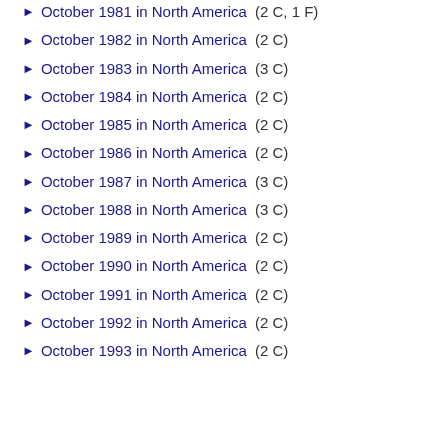October 1981 in North America (2 C, 1 F)
October 1982 in North America (2 C)
October 1983 in North America (3 C)
October 1984 in North America (2 C)
October 1985 in North America (2 C)
October 1986 in North America (2 C)
October 1987 in North America (3 C)
October 1988 in North America (3 C)
October 1989 in North America (2 C)
October 1990 in North America (2 C)
October 1991 in North America (2 C)
October 1992 in North America (2 C)
October 1993 in North America (2 C)